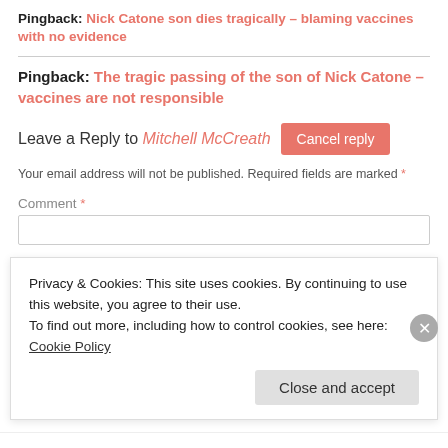Pingback: Nick Catone son dies tragically – blaming vaccines with no evidence
Pingback: The tragic passing of the son of Nick Catone – vaccines are not responsible
Leave a Reply to Mitchell McCreath Cancel reply
Your email address will not be published. Required fields are marked *
Comment *
Privacy & Cookies: This site uses cookies. By continuing to use this website, you agree to their use. To find out more, including how to control cookies, see here: Cookie Policy
Close and accept